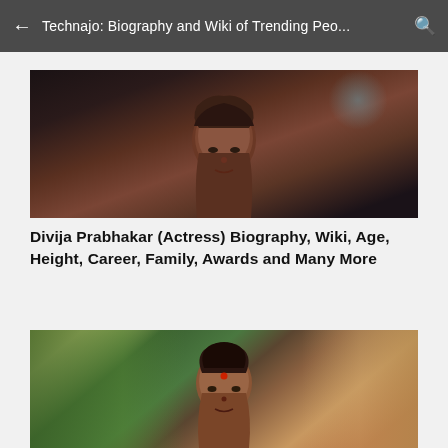Technajo: Biography and Wiki of Trending Peo...
[Figure (photo): Portrait photo of Divija Prabhakar, a woman with dark hair, against a dark background with blurred lights]
Divija Prabhakar (Actress) Biography, Wiki, Age, Height, Career, Family, Awards and Many More
[Figure (photo): Second photo of woman (possibly Divija Prabhakar) with red bindi, dark hair up, wearing traditional attire, with palm leaves and decorative elements in background]